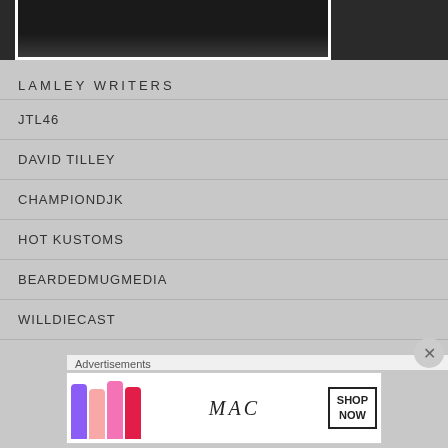[Figure (photo): Top portion of a photo, dark background, partially cropped, shown with white border frame]
LAMLEY WRITERS
JTL46
DAVID TILLEY
CHAMPIONDJK
HOT KUSTOMS
BEARDEDMUGMEDIA
WILLDIECAST
Advertisements
[Figure (photo): MAC cosmetics advertisement banner showing lipsticks in purple, peach, pink and red colors with MAC logo and SHOP NOW button]